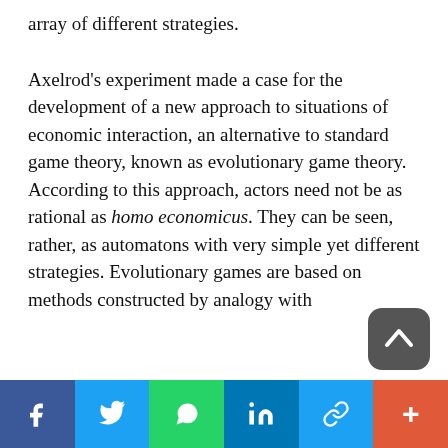array of different strategies.
Axelrod's experiment made a case for the development of a new approach to situations of economic interaction, an alternative to standard game theory, known as evolutionary game theory. According to this approach, actors need not be as rational as homo economicus. They can be seen, rather, as automatons with very simple yet different strategies. Evolutionary games are based on methods constructed by analogy with [Darwin's evolutionary theory. This approach]